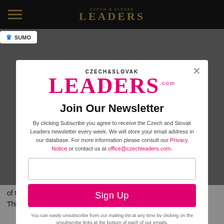Czech & Slovak Leaders - navigation bar
[Figure (logo): Czech & Slovak Leaders magazine logo in gold on dark background]
Join Our Newsletter
By clicking Subscribe you agree to receive the Czech and Slovak Leaders newsletter every week. We will store your email address in our database. For more information please consult our Privacy Notice or contact us at office@czechleaders.com.
Sign Up
You can easily unsubscribe from our mailing list at any time by clicking on the unsubscribe links at the bottom of each of our emails.
of the Slovenian Government.
Third, the ambassadorial post in the Czech Republic as a